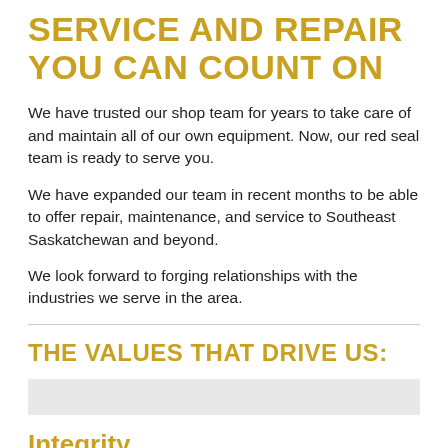SERVICE AND REPAIR YOU CAN COUNT ON
We have trusted our shop team for years to take care of and maintain all of our own equipment. Now, our red seal team is ready to serve you.
We have expanded our team in recent months to be able to offer repair, maintenance, and service to Southeast Saskatchewan and beyond.
We look forward to forging relationships with the industries we serve in the area.
THE VALUES THAT DRIVE US:
Integrity